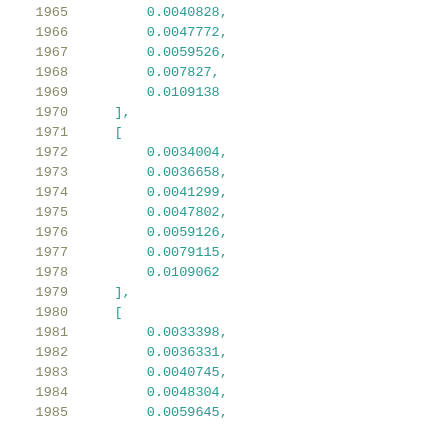Code listing showing array data with line numbers 1965-1985. Lines contain numeric values: 0.0040828, 0.0047772, 0.0059526, 0.007827, 0.0109138, ], [, 0.0034004, 0.0036658, 0.0041299, 0.0047802, 0.0059126, 0.0079115, 0.0109062, ], [, 0.0033398, 0.0036331, 0.0040745, 0.0048304, 0.0059645,